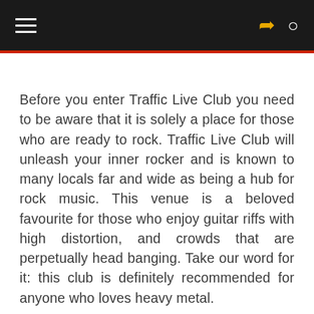Before you enter Traffic Live Club you need to be aware that it is solely a place for those who are ready to rock. Traffic Live Club will unleash your inner rocker and is known to many locals far and wide as being a hub for rock music. This venue is a beloved favourite for those who enjoy guitar riffs with high distortion, and crowds that are perpetually head banging. Take our word for it: this club is definitely recommended for anyone who loves heavy metal.